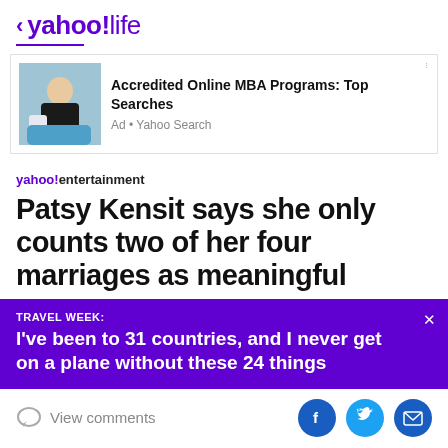< yahoo!life
[Figure (infographic): Advertisement banner with image of woman sitting on blue couch with laptop. Text: Accredited Online MBA Programs: Top Searches. Ad • Yahoo Search]
yahoo!entertainment
Patsy Kensit says she only counts two of her four marriages as meaningful
TRAVEL WEEK: I've been to 31 countries, and I never get on a plane without these 24 things
View comments